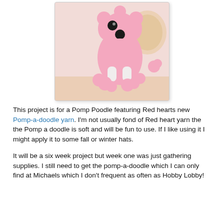[Figure (photo): A crocheted pink poodle amigurumi toy sitting on a surface, made with pink and white yarn, featuring pompom details on feet and tail, a black button nose and eye, with a light background.]
This project is for a Pomp Poodle featuring Red hearts new Pomp-a-doodle yarn. I'm not usually fond of Red heart yarn the the Pomp a doodle is soft and will be fun to use. If I like using it I might apply it to some fall or winter hats.
It will be a six week project but week one was just gathering supplies. I still need to get the pomp-a-doodle which I can only find at Michaels which I don't frequent as often as Hobby Lobby!